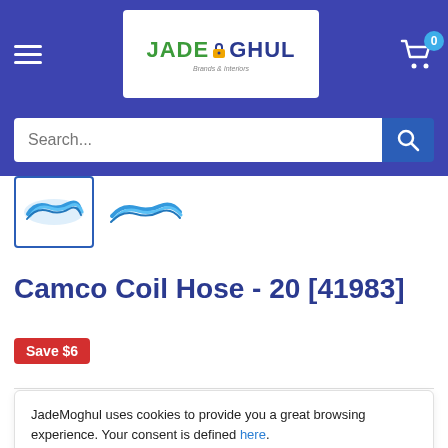[Figure (logo): JadeMoghul logo with lock icon, white background in blue header bar, with hamburger menu on left and shopping cart with badge '0' on right]
Search...
[Figure (photo): Two product thumbnail images of a blue coiled hose (Camco Coil Hose), one selected with blue border]
Camco Coil Hose - 20 [41983]
Save $6
JadeMoghul uses cookies to provide you a great browsing experience. Your consent is defined here.
Sure!